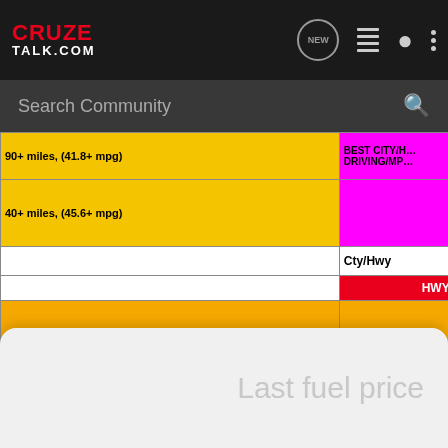CRUZE TALK.COM
Search Community
| TOWN/TRIPS | Cty/Hwy | MILES | MPG | GALLONS | COST PER GALLON | PRICE/MI |
| --- | --- | --- | --- | --- | --- | --- |
| 90+ miles, (41.8+ mpg) | BEST CTY/HWY DRIVING/MPG |  |  |  |  |  |
| 40+ miles, (45.6+ mpg) |  | Hwy ONLY |  |  |  |  |
|  | Cty/Hwy |  |  |  |  |  |
|  | HWY |  |  |  |  |  |
| TOWN/TRIPS | Cty/Hwy | MILES | MPG | GALLONS | COST PER GALLON | PRICE/MI |
| Hankinton - Mitchell - Milltown - Mitchell - | Cty/Hwy | 368 | 36.44 | 10.10 | 2.59 | 0.071 |
Last fuel price